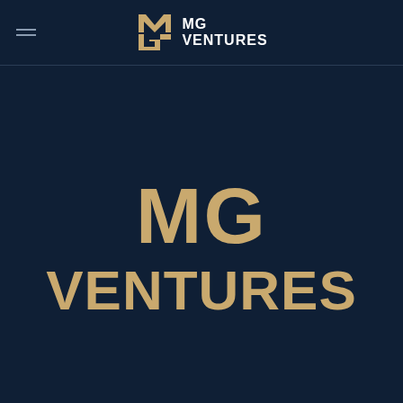[Figure (logo): MG Ventures logo with stylized M and G letterform icon in gold/white on dark navy background, with hamburger menu icon on the left]
MG VENTURES